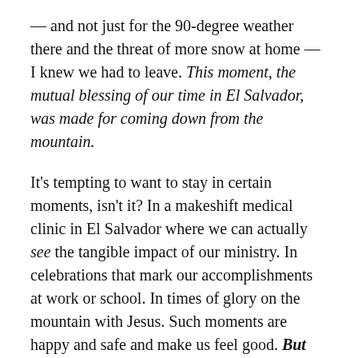— and not just for the 90-degree weather there and the threat of more snow at home — I knew we had to leave. This moment, the mutual blessing of our time in El Salvador, was made for coming down from the mountain.
It's tempting to want to stay in certain moments, isn't it? In a makeshift medical clinic in El Salvador where we can actually see the tangible impact of our ministry. In celebrations that mark our accomplishments at work or school. In times of glory on the mountain with Jesus. Such moments are happy and safe and make us feel good. But these moments are also made for coming down from the mountain.
What happens on the mountain is a remarkable thing: